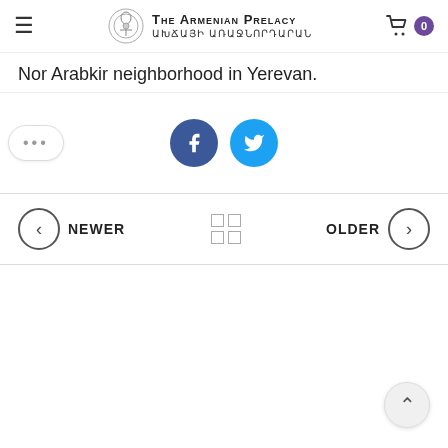The Armenian Prelacy — ԱԽՃԱՅԻ ԱՌԱՋՆՈՐԴԱՐԱՆ
Nor Arabkir neighborhood in Yerevan.
[Figure (infographic): Social share buttons: More (...), Facebook (blue circle), Twitter (cyan circle)]
[Figure (infographic): Navigation row with NEWER (left arrow), grid icon, OLDER (right arrow)]